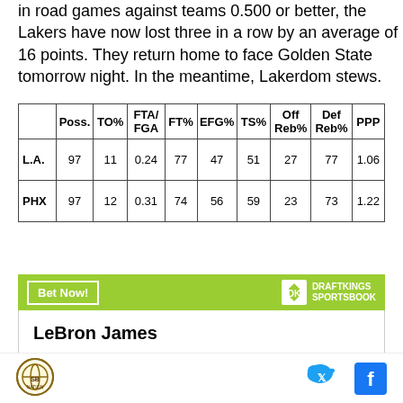in road games against teams 0.500 or better, the Lakers have now lost three in a row by an average of 16 points. They return home to face Golden State tomorrow night. In the meantime, Lakerdom stews.
|  | Poss. | TO% | FTA/FGA | FT% | EFG% | TS% | Off Reb% | Def Reb% | PPP |
| --- | --- | --- | --- | --- | --- | --- | --- | --- | --- |
| L.A. | 97 | 11 | 0.24 | 77 | 47 | 51 | 27 | 77 | 1.06 |
| PHX | 97 | 12 | 0.31 | 74 | 56 | 59 | 23 | 73 | 1.22 |
[Figure (other): DraftKings Sportsbook Bet Now banner with green background]
LeBron James
[Figure (logo): SB Nation logo - circular purple/gold basketball icon]
[Figure (other): Twitter and Facebook social share icons]